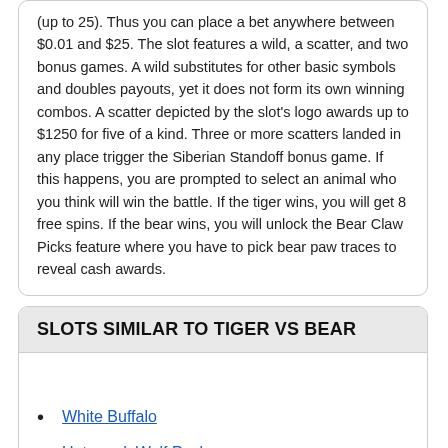(up to 25). Thus you can place a bet anywhere between $0.01 and $25. The slot features a wild, a scatter, and two bonus games. A wild substitutes for other basic symbols and doubles payouts, yet it does not form its own winning combos. A scatter depicted by the slot's logo awards up to $1250 for five of a kind. Three or more scatters landed in any place trigger the Siberian Standoff bonus game. If this happens, you are prompted to select an animal who you think will win the battle. If the tiger wins, you will get 8 free spins. If the bear wins, you will unlock the Bear Claw Picks feature where you have to pick bear paw traces to reveal cash awards.
SLOTS SIMILAR TO TIGER VS BEAR
White Buffalo
Untamed: Wolf Pack
Untamed: Giant Panda
Untamed: Crowned Eagle
Untamed: Bengal Tiger